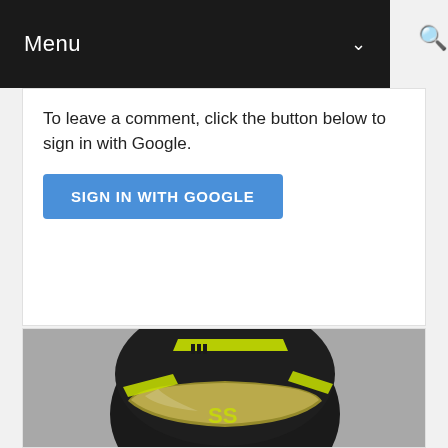Menu
To leave a comment, click the button below to sign in with Google.
SIGN IN WITH GOOGLE
[Figure (photo): Black motorcycle helmet with neon yellow/green graphic stripes and 'SS' logo, shown from the side, with an iridescent visor, on a gray background.]